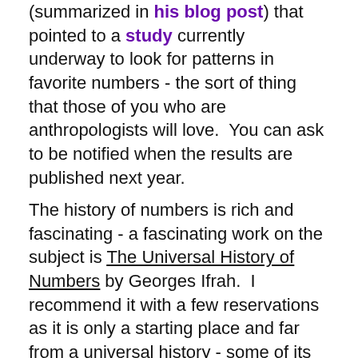(summarized in his blog post) that pointed to a study currently underway to look for patterns in favorite numbers - the sort of thing that those of you who are anthropologists will love.  You can ask to be notified when the results are published next year.
The history of numbers is rich and fascinating - a fascinating work on the subject is The Universal History of Numbers by Georges Ifrah.  I recommend it with a few reservations as it is only a starting place and far from a universal history - some of its entries are disputed.  But it is an excellent entry point to learning about the development of some